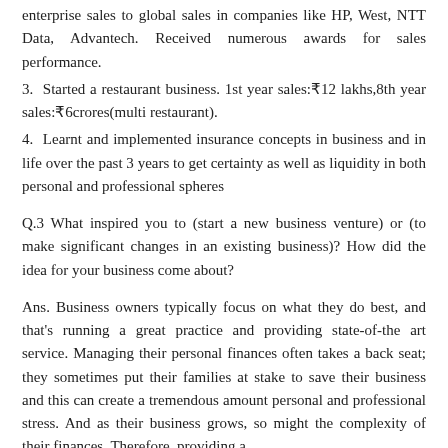enterprise sales to global sales in companies like HP, West, NTT Data, Advantech. Received numerous awards for sales performance.
3.  Started a restaurant business. 1st year sales:₹12 lakhs,8th year sales:₹6crores(multi restaurant).
4.  Learnt and implemented insurance concepts in business and in life over the past 3 years to get certainty as well as liquidity in both personal and professional spheres
Q.3 What inspired you to (start a new business venture) or (to make significant changes in an existing business)? How did the idea for your business come about?
Ans. Business owners typically focus on what they do best, and that's running a great practice and providing state-of-the art service. Managing their personal finances often takes a back seat; they sometimes put their families at stake to save their business and this can create a tremendous amount personal and professional stress. And as their business grows, so might the complexity of their finances. Therefore, providing a